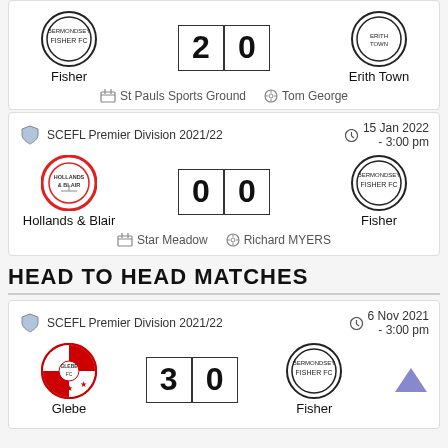Fisher vs Erith Town — 2 : 0 — St Pauls Sports Ground — Tom George
SCEFL Premier Division 2021/22 — 15 Jan 2022 - 3:00 pm — Hollands & Blair 0 0 Fisher — Star Meadow — Richard MYERS
HEAD TO HEAD MATCHES
SCEFL Premier Division 2021/22 — 6 Nov 2021 - 3:00 pm — Glebe 3 0 Fisher